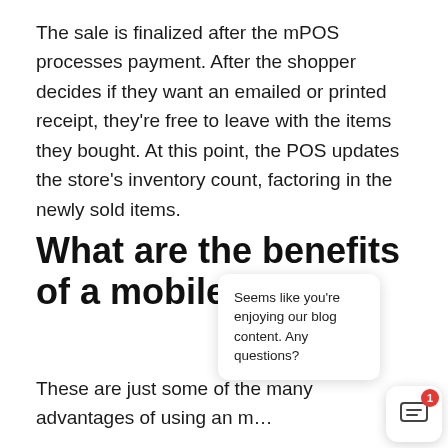The sale is finalized after the mPOS processes payment. After the shopper decides if they want an emailed or printed receipt, they're free to leave with the items they bought. At this point, the POS updates the store's inventory count, factoring in the newly sold items.
What are the benefits of a mobile POS?
These are just some of the many advantages of using an m…
[Figure (screenshot): Chat popup widget with close button, message bubble icon with badge count of 1, and tooltip saying 'Seems like you're enjoying our blog content. Any questions?']